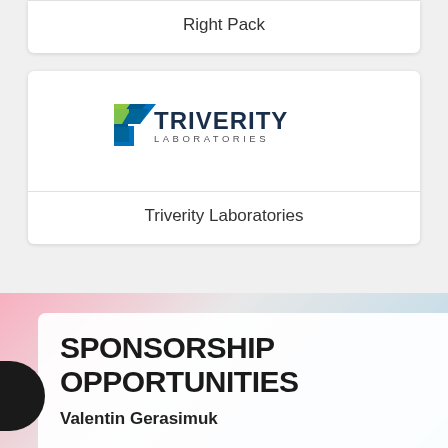Right Pack
[Figure (logo): Triverity Laboratories logo with green and blue arrow icon and text TRIVERITY LABORATORIES]
Triverity Laboratories
SPONSORSHIP OPPORTUNITIES
Valentin Gerasimuk